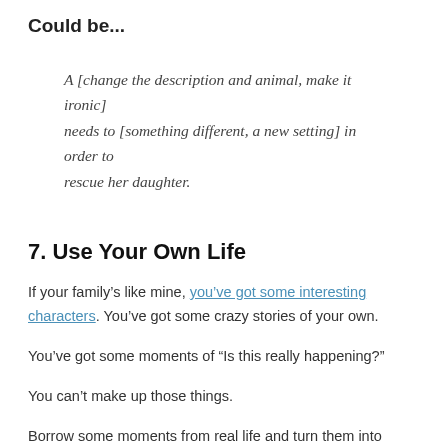Could be...
A [change the description and animal, make it ironic] needs to [something different, a new setting] in order to rescue her daughter.
7. Use Your Own Life
If your family's like mine, you've got some interesting characters. You've got some crazy stories of your own.
You've got some moments of "Is this really happening?"
You can't make up those things.
Borrow some moments from real life and turn them into a premise that could drive a whole book (just change enough